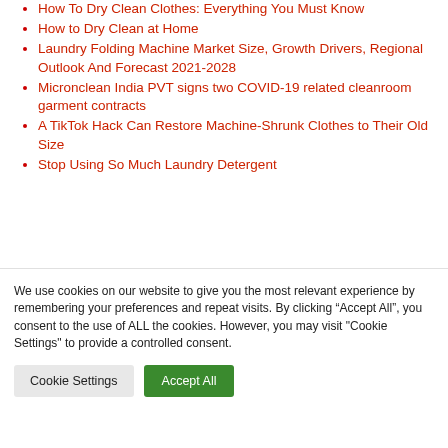How To Dry Clean Clothes: Everything You Must Know
How to Dry Clean at Home
Laundry Folding Machine Market Size, Growth Drivers, Regional Outlook And Forecast 2021-2028
Micronclean India PVT signs two COVID-19 related cleanroom garment contracts
A TikTok Hack Can Restore Machine-Shrunk Clothes to Their Old Size
Stop Using So Much Laundry Detergent
We use cookies on our website to give you the most relevant experience by remembering your preferences and repeat visits. By clicking “Accept All”, you consent to the use of ALL the cookies. However, you may visit "Cookie Settings" to provide a controlled consent.